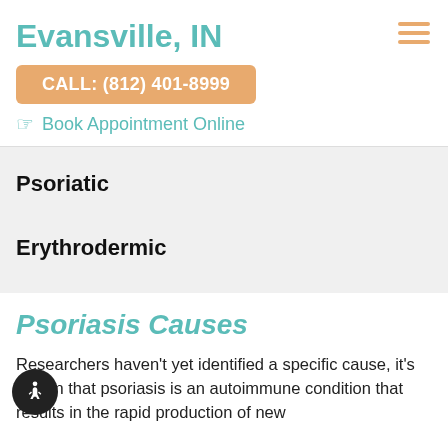Evansville, IN
CALL: (812) 401-8999
Book Appointment Online
Psoriatic
Erythrodermic
Psoriasis Causes
Researchers haven't yet identified a specific cause, it's known that psoriasis is an autoimmune condition that results in the rapid production of new